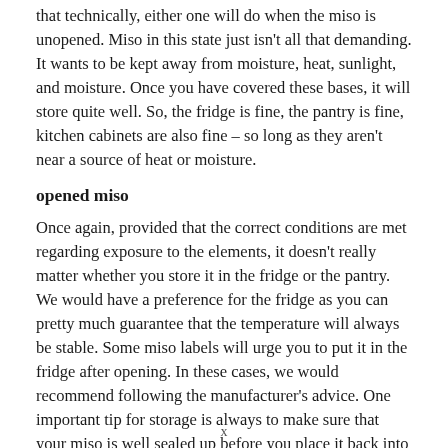that technically, either one will do when the miso is unopened. Miso in this state just isn't all that demanding. It wants to be kept away from moisture, heat, sunlight, and moisture. Once you have covered these bases, it will store quite well. So, the fridge is fine, the pantry is fine, kitchen cabinets are also fine – so long as they aren't near a source of heat or moisture.
opened miso
Once again, provided that the correct conditions are met regarding exposure to the elements, it doesn't really matter whether you store it in the fridge or the pantry. We would have a preference for the fridge as you can pretty much guarantee that the temperature will always be stable. Some miso labels will urge you to put it in the fridge after opening. In these cases, we would recommend following the manufacturer's advice. One important tip for storage is always to make sure that your miso is well sealed up before you place it back into the
x